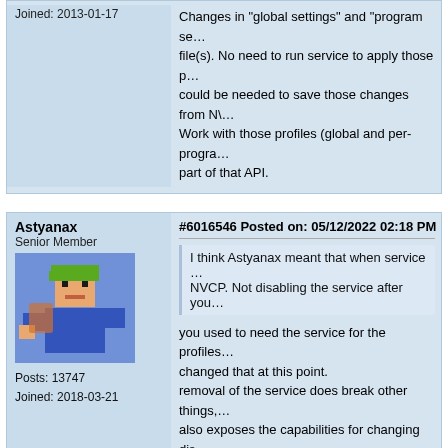Joined: 2013-01-17
Changes in "global settings" and "program settings" are stored in file(s). No need to run service to apply those perhaps service could be needed to save those changes from NVCP... Work with those profiles (global and per-program) is part of that API.
Astyanax
Senior Member
[Figure (illustration): Pixel art avatar of a male character with green hair and blue outfit in a fighting pose]
Posts: 13747
Joined: 2018-03-21
#6016546 Posted on: 05/12/2022 02:18 PM
I think Astyanax meant that when service ... NVCP. Not disabling the service after you
you used to need the service for the profiles ... changed that at this point.
removal of the service does break other things, ... also exposes the capabilities for changing dis... NVAPI directly.
Post New Comment